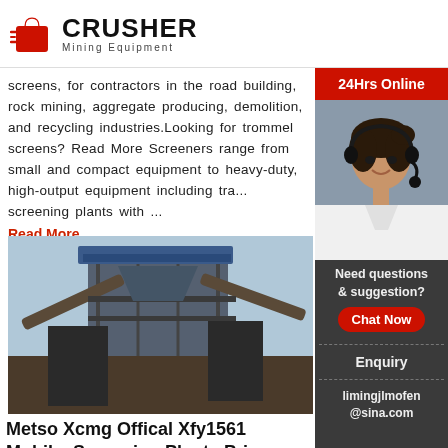CRUSHER Mining Equipment
screens, for contractors in the road building, rock mining, aggregate producing, demolition, and recycling industries.Looking for trommel screens? Read More Screeners range from small and compact equipment to heavy-duty, high-output equipment including tra... screening plants with ...
Read More
[Figure (photo): Industrial mobile screening plant / machinery at a mining or aggregate site, with blue roof structure and conveyor belts.]
Metso Xcmg Offical Xfy1561 Mobile Screening Plants Price ...
Metso Jan 21, 2021 XCMG official manufacture Mobile Screens Plants for sale . FOB for Mining Reference Price: factory price Reference Price: factory Price Id4 ...
[Figure (infographic): Sidebar with '24Hrs Online' label in red, photo of smiling customer service woman with headset, 'Need questions & suggestion?' text, Chat Now button, Enquiry section, and limingjlmofen@sina.com email.]